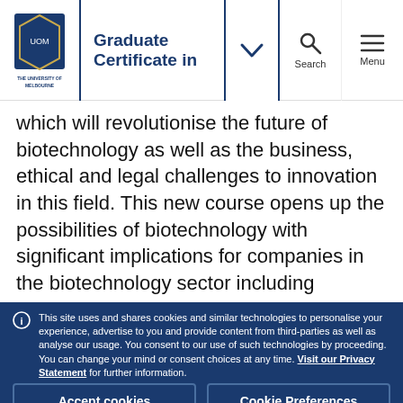Graduate Certificate in [dropdown] Search Menu
which will revolutionise the future of biotechnology as well as the business, ethical and legal challenges to innovation in this field. This new course opens up the possibilities of biotechnology with significant implications for companies in the biotechnology sector including pharmaceuticals, therapeutics and biologic food, chemicals, medical devices
This site uses and shares cookies and similar technologies to personalise your experience, advertise to you and provide content from third-parties as well as analyse our usage. You consent to our use of such technologies by proceeding. You can change your mind or consent choices at any time. Visit our Privacy Statement for further information.
Accept cookies
Cookie Preferences